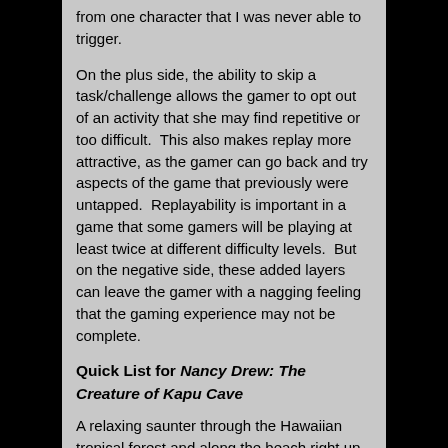from one character that I was never able to trigger.
On the plus side, the ability to skip a task/challenge allows the gamer to opt out of an activity that she may find repetitive or too difficult.  This also makes replay more attractive, as the gamer can go back and try aspects of the game that previously were untapped.  Replayability is important in a game that some gamers will be playing at least twice at different difficulty levels.  But on the negative side, these added layers can leave the gamer with a nagging feeling that the gaming experience may not be complete.
Quick List for Nancy Drew: The Creature of Kapu Cave
A relaxing saunter through the Hawaiian tropical forest and along the beach right up until the suspenseful ending.  The plot includes dovetailing mysteries that involve a wacky scientist, a grouchy scientist, and a mythic creature with a vengeful disposition.
First person perspective, no 360-degree panning.  You assume the role of Nancy Drew for about half of the game; the rest of the time you play as Joe or Frank Hardy.
A classy, optional tutorial.  Improved character modeling, very good writing and voice-overs.  You